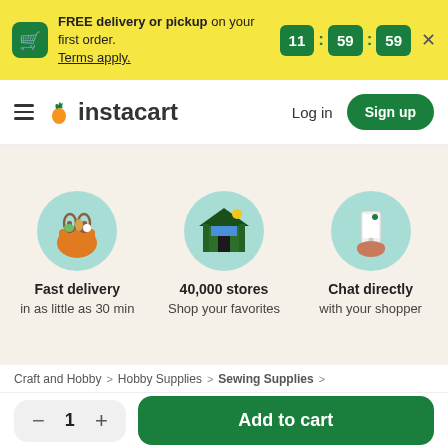FREE delivery or pickup on your first order. Terms apply.
11 : 59 : 59
[Figure (logo): Instacart logo with carrot icon]
Log in
Sign up
[Figure (illustration): Three feature icons: grocery bag, store building, hand holding phone]
Fast delivery in as little as 30 min
40,000 stores Shop your favorites
Chat directly with your shopper
Craft and Hobby > Hobby Supplies > Sewing Supplies >
— 1 + Add to cart